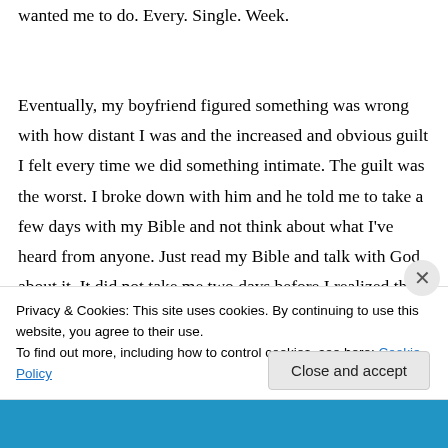wanted me to do. Every. Single. Week.

Eventually, my boyfriend figured something was wrong with how distant I was and the increased and obvious guilt I felt every time we did something intimate. The guilt was the worst. I broke down with him and he told me to take a few days with my Bible and not think about what I've heard from anyone. Just read my Bible and talk with God about it. It did not take me two days before I realized there was no way I could or wanted to leave him.
Privacy & Cookies: This site uses cookies. By continuing to use this website, you agree to their use.
To find out more, including how to control cookies, see here: Cookie Policy